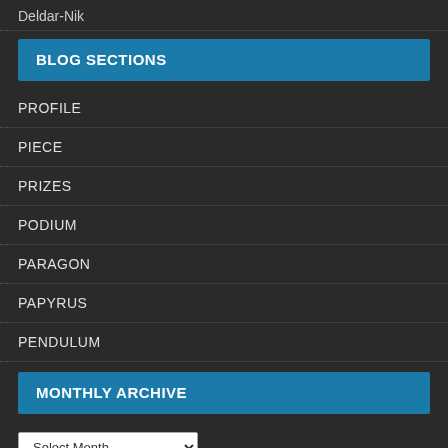Deldar-Nik
BLOG SECTIONS
PROFILE
PIECE
PRIZES
PODIUM
PARAGON
PAPYRUS
PENDULUM
MONTHLY ARCHIVE
Select Month